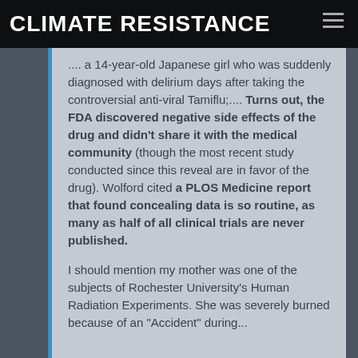CLIMATE RESISTANCE
.... a 14-year-old Japanese girl who was suddenly diagnosed with delirium days after taking the controversial anti-viral Tamiflu;.... Turns out, the FDA discovered negative side effects of the drug and didn't share it with the medical community (though the most recent study conducted since this reveal are in favor of the drug). Wolford cited a PLOS Medicine report that found concealing data is so routine, as many as half of all clinical trials are never published.
I should mention my mother was one of the subjects of Rochester University's Human Radiation Experiments. She was severely burned because of an "Accident" during...